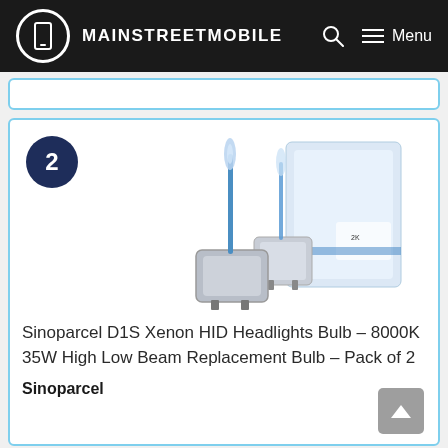MAINSTREETMOBILE
[Figure (photo): Sinoparcel D1S Xenon HID headlight bulbs (two bulbs with blue stems and silver bases) alongside their product box packaging]
Sinoparcel D1S Xenon HID Headlights Bulb – 8000K 35W High Low Beam Replacement Bulb – Pack of 2
Sinoparcel